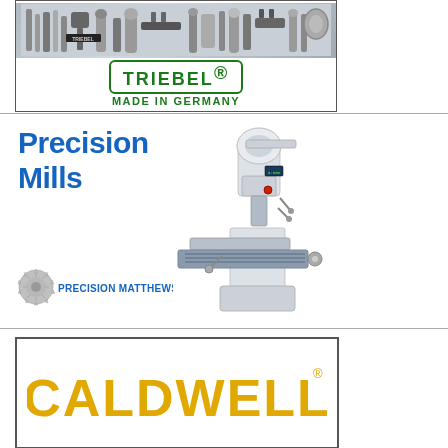[Figure (photo): Triebel advertisement showing precision machining tools and collets at top, with Triebel brand logo and 'Made in Germany' text below]
[Figure (photo): Precision Matthews advertisement showing blue bold text 'Precision Mills' on left with image of a vertical milling machine and Precision Matthews logo/brand]
[Figure (logo): Caldwell advertisement showing CALDWELL brand name in bold golden/yellow letters inside a dark-bordered box]